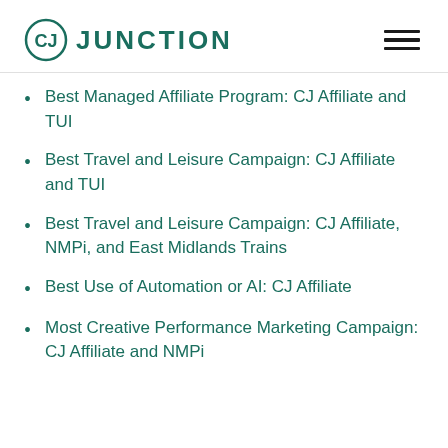CJ JUNCTION
Best Managed Affiliate Program: CJ Affiliate and TUI
Best Travel and Leisure Campaign: CJ Affiliate and TUI
Best Travel and Leisure Campaign: CJ Affiliate, NMPi, and East Midlands Trains
Best Use of Automation or AI: CJ Affiliate
Most Creative Performance Marketing Campaign: CJ Affiliate and NMPi